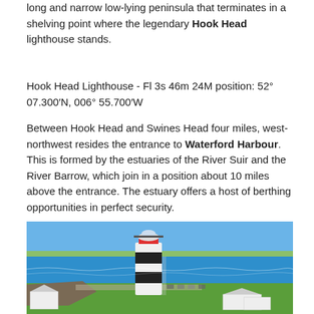long and narrow low-lying peninsula that terminates in a shelving point where the legendary Hook Head lighthouse stands.
Hook Head Lighthouse - Fl 3s 46m 24M position: 52° 07.300′N, 006° 55.700′W
Between Hook Head and Swines Head four miles, west-northwest resides the entrance to Waterford Harbour. This is formed by the estuaries of the River Suir and the River Barrow, which join in a position about 10 miles above the entrance. The estuary offers a host of berthing opportunities in perfect security.
[Figure (photo): Aerial photograph of Hook Head Lighthouse, a tall black-and-white striped lighthouse, with the surrounding coastal landscape showing blue sea, green fields, rocky shoreline, and white buildings at its base.]